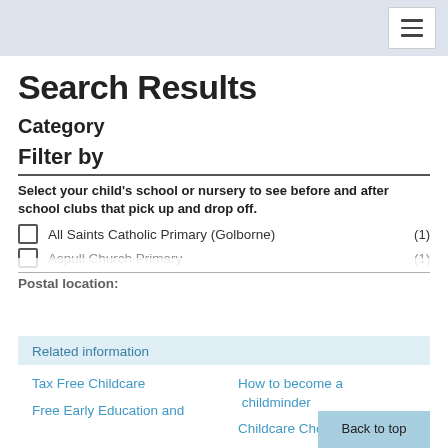Search Results - navigation header
Search Results
Category
Filter by
Select your child's school or nursery to see before and after school clubs that pick up and drop off.
All Saints Catholic Primary (Golborne) (1)
Aspull Church Primary (1)
Postal location:
Related information
Tax Free Childcare
How to become a childminder
Free Early Education and
Childcare Choices